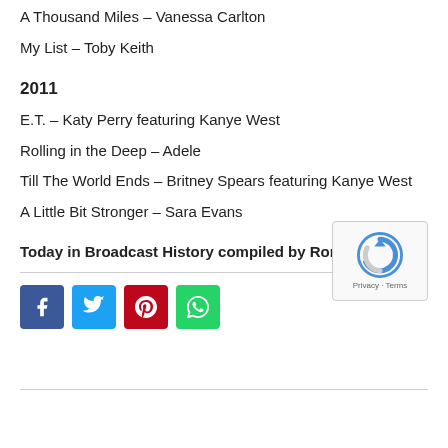A Thousand Miles – Vanessa Carlton
My List – Toby Keith
2011
E.T.  – Katy Perry featuring Kanye West
Rolling in the Deep – Adele
Till The World Ends – Britney Spears featuring Kanye West
A Little Bit Stronger – Sara Evans
Today in Broadcast History compiled by Ron Robinson
[Figure (other): Social sharing buttons: Facebook, Twitter, Pinterest, WhatsApp]
[Figure (other): Google reCAPTCHA widget with Privacy and Terms links]